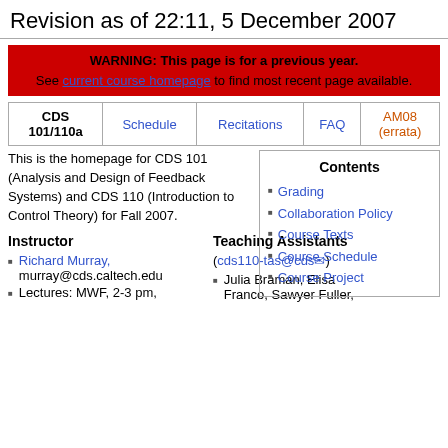Revision as of 22:11, 5 December 2007
WARNING: This page is for a previous year. See current course homepage to find most recent page available.
| CDS 101/110a | Schedule | Recitations | FAQ | AM08 (errata) |
| --- | --- | --- | --- | --- |
|  |
This is the homepage for CDS 101 (Analysis and Design of Feedback Systems) and CDS 110 (Introduction to Control Theory) for Fall 2007.
Contents
Grading
Collaboration Policy
Course Texts
Course Schedule
Course Project
Instructor
Richard Murray, murray@cds.caltech.edu
Lectures: MWF, 2-3 pm,
Teaching Assistants
(cds110-tas@cds✉)
Julia Braman, Elisa Franco, Sawyer Fuller,
...